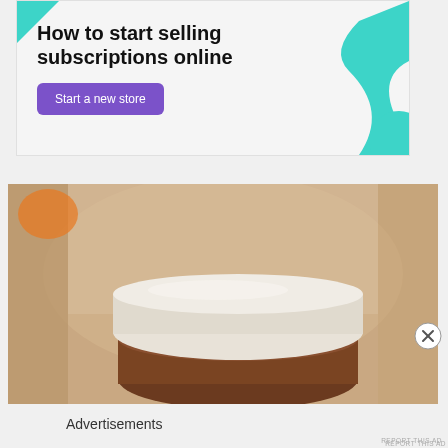[Figure (infographic): Advertisement banner: 'How to start selling subscriptions online' with a purple 'Start a new store' button, teal decorative shapes in corners, light gray background]
REPORT THIS AD
[Figure (photo): A cosmetic cream jar with a white lid sitting on a warm beige/tan surface, photographed close-up inside what appears to be a cabinet or shelf]
[Figure (other): Close button (circled X) overlay on the right side]
Advertisements
REPORT THIS AD